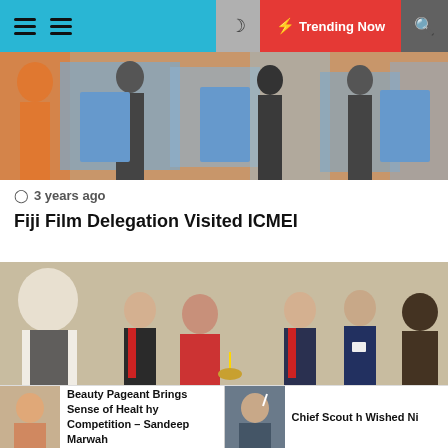Trending Now
[Figure (photo): People holding blue promotional banners/books at an event]
3 years ago
Fiji Film Delegation Visited ICMEI
[Figure (photo): Group of people at an indoor event, woman in red lighting a ceremonial lamp, surrounded by men in suits and traditional attire]
7 years ago
Photography Exhibition by Henryk Pietkiewicz Ina
Beauty Pageant Brings Sense of Healthy Competition – Sandeep Marwah
Chief Scout h Wished Ni